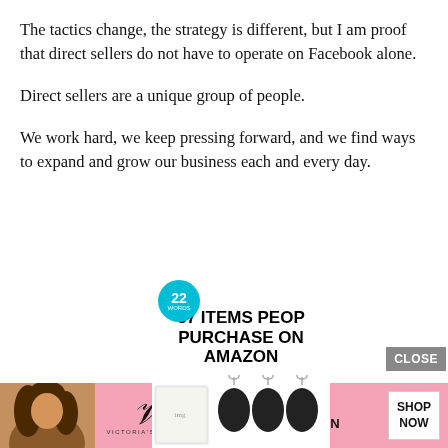The tactics change, the strategy is different, but I am proof that direct sellers do not have to operate on Facebook alone.
Direct sellers are a unique group of people.
We work hard, we keep pressing forward, and we find ways to expand and grow our business each and every day.
[Figure (screenshot): Overlapping web page advertisements: a black video player with a loading spinner and a close (x) button, a '22 Words' badge, a '37 ITEMS PEOPLE PURCHASE ON AMAZON' ad card with product images, a gray CLOSE button, and a Victoria's Secret pink banner ad with model photo, VS logo, 'SHOP THE COLLECTION' text, and a 'SHOP NOW' white button.]